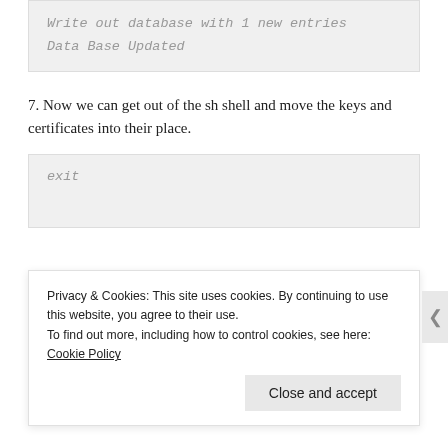Write out database with 1 new entries
Data Base Updated
7. Now we can get out of the sh shell and move the keys and certificates into their place.
exit
Privacy & Cookies: This site uses cookies. By continuing to use this website, you agree to their use.
To find out more, including how to control cookies, see here: Cookie Policy
Close and accept